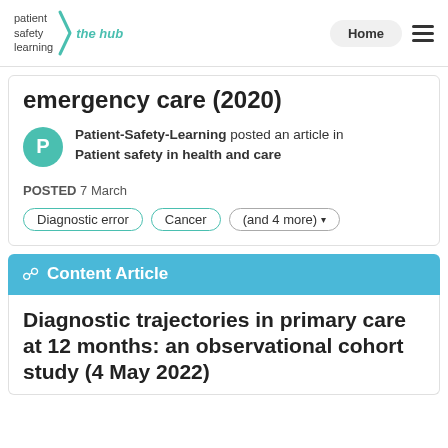patient safety learning | the hub | Home
emergency care (2020)
Patient-Safety-Learning posted an article in Patient safety in health and care
POSTED 7 March
Diagnostic error
Cancer
(and 4 more)
Content Article
Diagnostic trajectories in primary care at 12 months: an observational cohort study (4 May 2022)